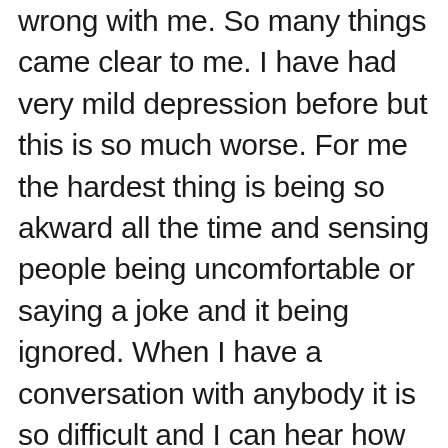wrong with me. So many things came clear to me. I have had very mild depression before but this is so much worse. For me the hardest thing is being so akward all the time and sensing people being uncomfortable or saying a joke and it being ignored. When I have a conversation with anybody it is so difficult and I can hear how in-genuine I sound. Of course that made me feel like a completely horrible person. I honestly had no idea why until I read your post. Every single thing you mentioned what I'm going through. I feel brain dead all the time and very forgetful I often have no emotion and feel so broken I had given up hope. No energy, no drive, no goals, every time I speak i fumble my words. Even writing this reply is taking everything I have. In